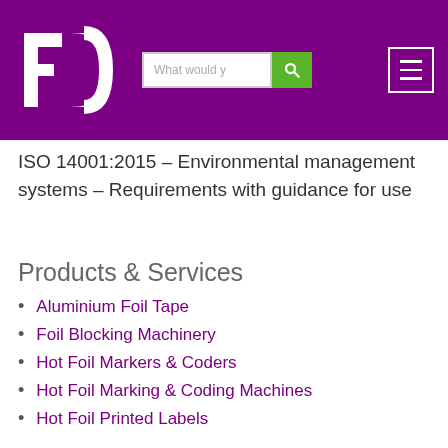[Figure (logo): FD company logo — white stylized letters F and D on purple background]
ISO 14001:2015 – Environmental management systems – Requirements with guidance for use
Products & Services
Aluminium Foil Tape
Foil Blocking Machinery
Hot Foil Markers & Coders
Hot Foil Marking & Coding Machines
Hot Foil Printed Labels
Hot Stamping Foil
Gallery